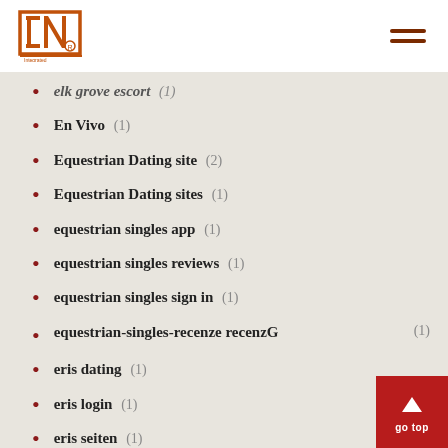INP logo and navigation
elk grove escort (1)
En Vivo (1)
Equestrian Dating site (2)
Equestrian Dating sites (1)
equestrian singles app (1)
equestrian singles reviews (1)
equestrian singles sign in (1)
equestrian-singles-recenze recenzГ (1)
eris dating (1)
eris login (1)
eris seiten (1)